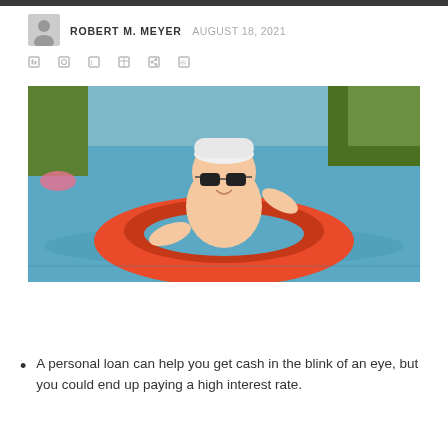ROBERT M. MEYER  AUGUST 18, 2021
[Figure (photo): A baby wearing sunglasses and a white hat sitting in a red inflatable ring float in a swimming pool, smiling.]
A personal loan can help you get cash in the blink of an eye, but you could end up paying a high interest rate.